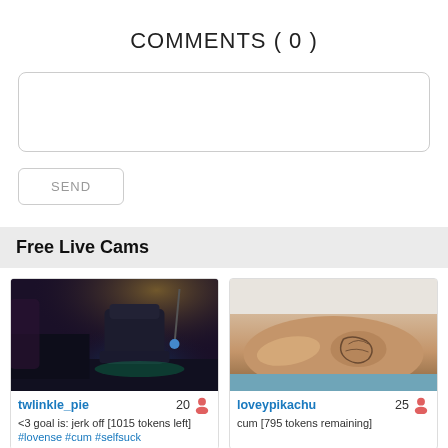COMMENTS ( 0 )
[comment input box]
SEND
Free Live Cams
[Figure (photo): Gaming room with RGB chair and dark lighting - twlinkle_pie stream thumbnail]
twlinkle_pie  20  <3 goal is: jerk off [1015 tokens left] #lovense #cum #selfsuck
[Figure (photo): Close-up of person with tattoo lying down - loveypikachu stream thumbnail]
loveypikachu  25  cum [795 tokens remaining]